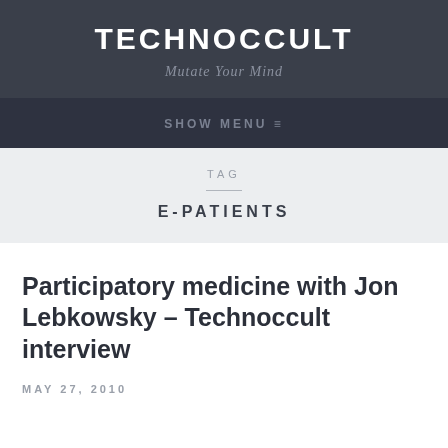TECHNOCCULT
Mutate Your Mind
SHOW MENU ≡
TAG
E-PATIENTS
Participatory medicine with Jon Lebkowsky – Technoccult interview
MAY 27, 2010